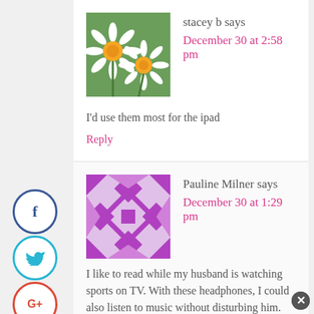[Figure (photo): Daisy flowers avatar for user stacey b]
stacey b says
December 30 at 2:58 pm
I'd use them most for the ipad
Reply
[Figure (illustration): Purple geometric quilt pattern avatar for user Pauline Milner]
Pauline Milner says
December 30 at 1:29 pm
I like to read while my husband is watching sports on TV. With these headphones, I could also listen to music without disturbing him. Thank you for the super giveaway opportunity. Keep up the terrific blogging.
[Figure (infographic): Social sharing sidebar with Facebook, Twitter, Google+, Pinterest, Yummly, StumbleUpon, Reddit buttons]